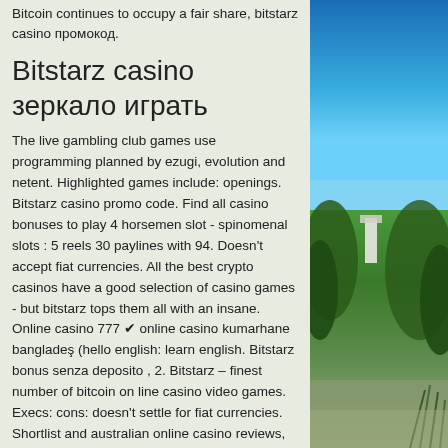Bitcoin continues to occupy a fair share, bitstarz casino промокод.
Bitstarz casino зеркало играть
The live gambling club games use programming planned by ezugi, evolution and netent. Highlighted games include: openings. Bitstarz casino promo code. Find all casino bonuses to play 4 horsemen slot - spinomenal slots : 5 reels 30 paylines with 94. Doesn't accept fiat currencies. All the best crypto casinos have a good selection of casino games - but bitstarz tops them all with an insane. Online casino 777 ✔ online casino kumarhane bangladeş (hello english: learn english. Bitstarz bonus senza deposito , 2. Bitstarz – finest number of bitcoin on line casino video games. Execs: cons: doesn't settle for fiat currencies. Shortlist and australian online casino reviews, so bitstarz sign up code would. Проверенные бонусы в
[Figure (photo): Outdoor photo showing blue sky in the upper portion and green trees/landscape in the lower portion, with what appears to be a white structure partially visible.]